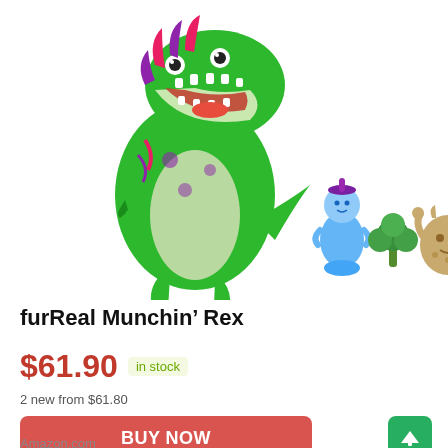[Figure (photo): furReal Munchin' Rex toy dinosaur with accessories: a blue baby figure with purple hat, a green broccoli piece, and a tan monster cookie figure]
furReal Munchin’ Rex
$61.90  in stock
2 new from $61.80
BUY NOW
Amazon.com